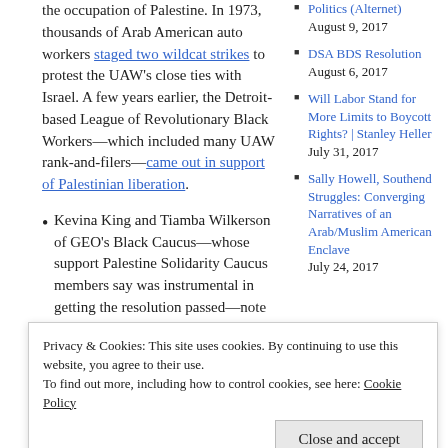the occupation of Palestine. In 1973, thousands of Arab American auto workers staged two wildcat strikes to protest the UAW's close ties with Israel. A few years earlier, the Detroit-based League of Revolutionary Black Workers—which included many UAW rank-and-filers—came out in support of Palestinian liberation.
Kevina King and Tiamba Wilkerson of GEO's Black Caucus—whose support Palestine Solidarity Caucus members say was instrumental in getting the resolution passed—note that "international solidarity, particularly between Black and Palestinian people, is as
Politics (Alternet) August 9, 2017
DSA BDS Resolution August 6, 2017
Will Labor Stand for More Limits to Boycott Rights? | Stanley Heller July 31, 2017
Sally Howell, Southend Struggles: Converging Narratives of an Arab/Muslim American Enclave July 24, 2017
Privacy & Cookies: This site uses cookies. By continuing to use this website, you agree to their use.
To find out more, including how to control cookies, see here: Cookie Policy
Close and accept
I'm deeply gratified to see that my union is
Conference July 7